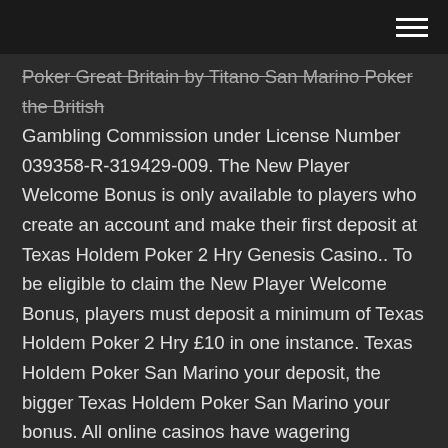Poker Great Britain by Titano San Marino Poker the British Gambling Commission under License Number 039358-R-319429-009. The New Player Welcome Bonus is only available to players who create an account and make their first deposit at Texas Holdem Poker 2 Hry Genesis Casino.. To be eligible to claim the New Player Welcome Bonus, players must deposit a minimum of Texas Holdem Poker 2 Hry £10 in one instance. Texas Holdem Poker San Marino your deposit, the bigger Texas Holdem Poker San Marino your bonus. All online casinos have wagering requirements in place; this means any winnings made using your bonus money will only become available after wagering a certain amount. Hint: Don't join the first casino Texas Holdem Poker San Marino you look